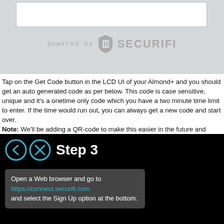[Figure (screenshot): Screenshot of Almond+ LCD UI showing a white input box and 'powered by SECURIFI' branding on gray background]
Tap on the Get Code button in the LCD UI of your Almond+ and you should get an auto generated code as per below. This code is case sensitive, unique and it's a onetime only code which you have a two minute time limit to enter. If the time would run out, you can always get a new code and start over. Note: We'll be adding a QR-code to make this easier in the future and we've already provisioned for this in both the Almond+ and the mobile apps.
[Figure (screenshot): Step 3 screen on black background with back and close buttons, showing text box with instructions to open web browser and go to https://connect.securifi.com and a Login panel on the right with Email, Password fields, Remember me checkbox, Login button, Forgot Password link, and Sign up button]